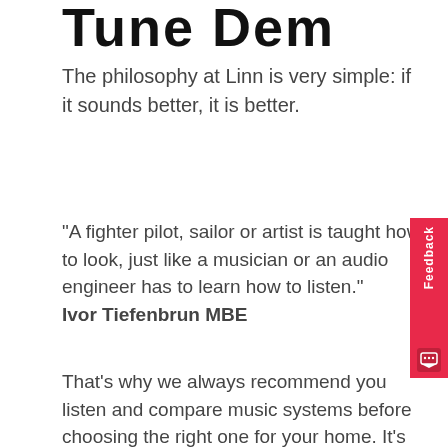Tune Dem
The philosophy at Linn is very simple: if it sounds better, it is better.
"A fighter pilot, sailor or artist is taught how to look, just like a musician or an audio engineer has to learn how to listen."
Ivor Tiefenbrun MBE
That's why we always recommend you listen and compare music systems before choosing the right one for your home. It’s really easy using our Tune Dem know-how.
When carrying out an A/B demonstration, it is sometimes possible to be confused by extraneous